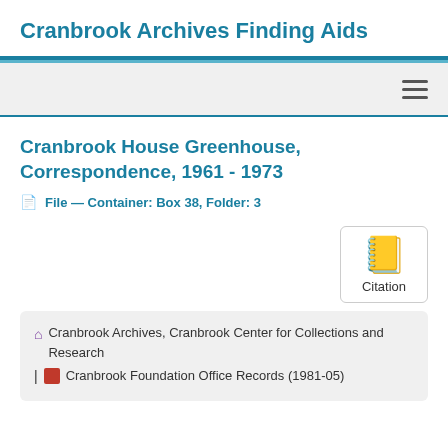Cranbrook Archives Finding Aids
Cranbrook House Greenhouse, Correspondence, 1961 - 1973
File — Container: Box 38, Folder: 3
[Figure (other): Citation button with book icon and label 'Citation']
Cranbrook Archives, Cranbrook Center for Collections and Research | Cranbrook Foundation Office Records (1981-05)